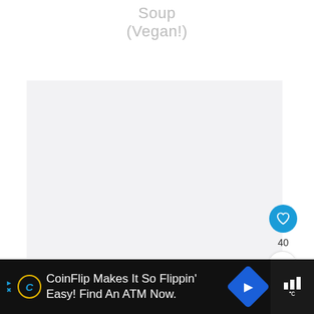Soup
(Vegan!)
[Figure (photo): Placeholder image area for a recipe photo (light gray background)]
[Figure (infographic): Like button (blue circle with heart icon), count of 40, share button (white circle with share icon)]
WHAT'S NEXT → Roasted Potato-...
CoinFlip Makes It So Flippin' Easy! Find An ATM Now.